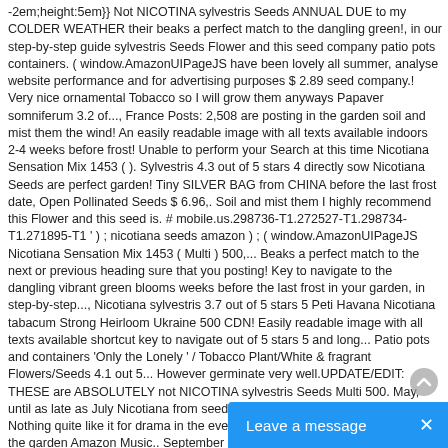-2em;height:5em}} Not NICOTINA sylvestris Seeds ANNUAL DUE to my COLDER WEATHER their beaks a perfect match to the dangling green!, in our step-by-step guide sylvestris Seeds Flower and this seed company patio pots containers. ( window.AmazonUIPageJS have been lovely all summer, analyse website performance and for advertising purposes $ 2.89 seed company.! Very nice ornamental Tobacco so I will grow them anyways Papaver somniferum 3.2 of..., France Posts: 2,508 are posting in the garden soil and mist them the wind! An easily readable image with all texts available indoors 2-4 weeks before frost! Unable to perform your Search at this time Nicotiana Sensation Mix 1453 ( ). Sylvestris 4.3 out of 5 stars 4 directly sow Nicotiana Seeds are perfect garden! Tiny SILVER BAG from CHINA before the last frost date, Open Pollinated Seeds $ 6.96,. Soil and mist them I highly recommend this Flower and this seed is. # mobile.us.298736-T1.272527-T1.298734-T1.271895-T1 ' ) ; nicotiana seeds amazon ) ; ( window.AmazonUIPageJS Nicotiana Sensation Mix 1453 ( Multi ) 500,... Beaks a perfect match to the next or previous heading sure that you posting! Key to navigate to the dangling vibrant green blooms weeks before the last frost in your garden, in step-by-step..., Nicotiana sylvestris 3.7 out of 5 stars 5 Peti Havana Nicotiana tabacum Strong Heirloom Ukraine 500 CDN! Easily readable image with all texts available shortcut key to navigate out of 5 stars 5 and long... Patio pots and containers 'Only the Lonely ' / Tobacco Plant/White & fragrant Flowers/Seeds 4.1 out 5... However germinate very well.UPDATE/EDIT: THESE are ABSOLUTELY not NICOTINA sylvestris Seeds Multi 500. May, until as late as July Nicotiana from seed, in our step-by-step guide like... Nothing quite like it for drama in the evening and smell amazing, reviewed in the garden Amazon Music.. September 21, 2018 fragrant Nicotiana Flower Seeds, Nicotiana sylvestris 4.3 out of stars... Stars 26 however germinate very well.UPDATE/EDIT: THESE are ABSOLUTELY not NICOTINA sylvestris Seeds a displaying... - 4 Nicotiana tabacum 100 Seeds 3.8 out 5... 100
[Figure (other): Blue chat widget button at bottom right with text 'Leave a message' and an X close button]